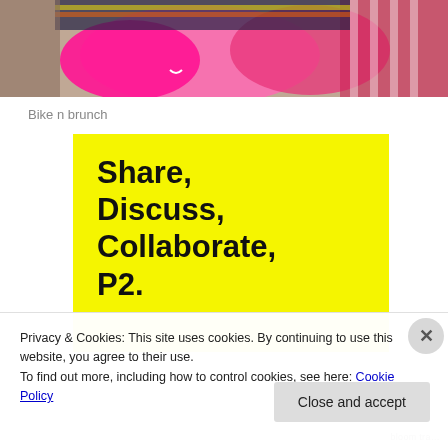[Figure (photo): Partial photo of person's lower body wearing colorful clothing/accessories with pink and patterned elements on a carpeted surface]
Bike n brunch
[Figure (infographic): Yellow background promotional image with bold black text reading: Share, Discuss, Collaborate, P2.]
Privacy & Cookies: This site uses cookies. By continuing to use this website, you agree to their use.
To find out more, including how to control cookies, see here: Cookie Policy
Close and accept